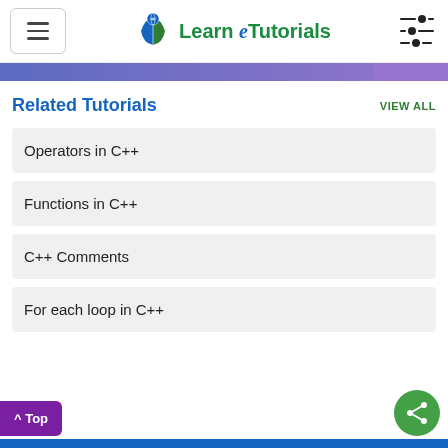[Figure (logo): Learn eTutorials logo with book icon and green/blue text]
Related Tutorials
VIEW ALL
Operators in C++
Functions in C++
C++ Comments
For each loop in C++